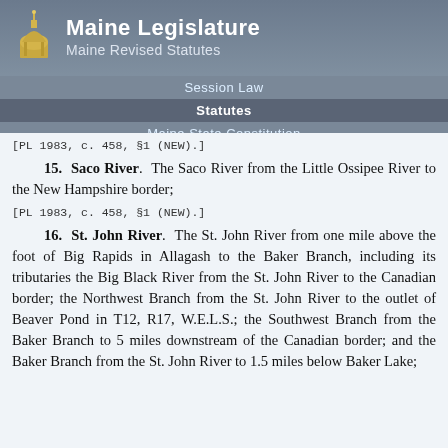Maine Legislature
Maine Revised Statutes
Session Law | Statutes | Maine State Constitution | Information
[PL 1983, c. 458, §1 (NEW).]
15.  Saco River.  The Saco River from the Little Ossipee River to the New Hampshire border;
[PL 1983, c. 458, §1 (NEW).]
16.  St. John River.  The St. John River from one mile above the foot of Big Rapids in Allagash to the Baker Branch, including its tributaries the Big Black River from the St. John River to the Canadian border; the Northwest Branch from the St. John River to the outlet of Beaver Pond in T12, R17, W.E.L.S.; the Southwest Branch from the Baker Branch to 5 miles downstream of the Canadian border; and the Baker Branch from the St. John River to 1.5 miles below Baker Lake;